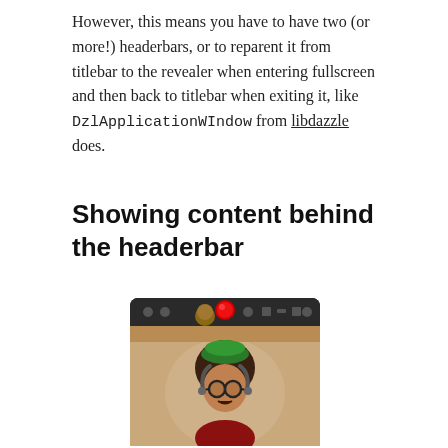However, this means you have to have two (or more!) headerbars, or to reparent it from titlebar to the revealer when entering fullscreen and then back to titlebar when exiting it, like DzlApplicationWIndow from libdazzle does.
Showing content behind the headerbar
[Figure (screenshot): Screenshot of a video calling application showing a person with curly hair, green cap, glasses and headphones, with a dark headerbar at top containing control buttons including a red record button]